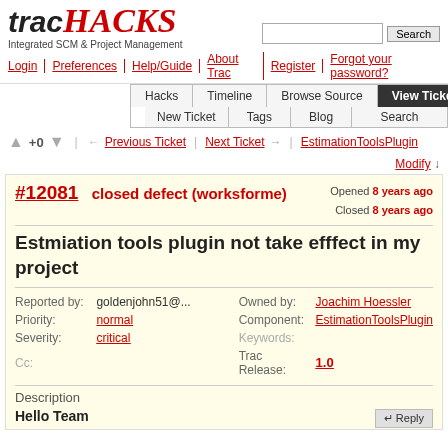[Figure (logo): TracHacks logo with 'trac' in black italic and 'HACKS' in red handwritten style, subtitle 'Integrated SCM & Project Management']
Login | Preferences | Help/Guide | About Trac | Register | Forgot your password?
Hacks | Timeline | Browse Source | View Tickets | New Ticket | Tags | Blog | Search
+0  ← Previous Ticket | Next Ticket → | EstimationToolsPlugin
Modify ↓
#12081  closed defect (worksforme)  Opened 8 years ago  Closed 8 years ago
Estmiation tools plugin not take efffect in my project
| Field | Value | Field | Value |
| --- | --- | --- | --- |
| Reported by: | goldenjohn51@... | Owned by: | Joachim Hoessler |
| Priority: | normal | Component: | EstimationToolsPlugin |
| Severity: | critical | Keywords: |  |
| Cc: |  | Trac Release: | 1.0 |
Description
Hello Team